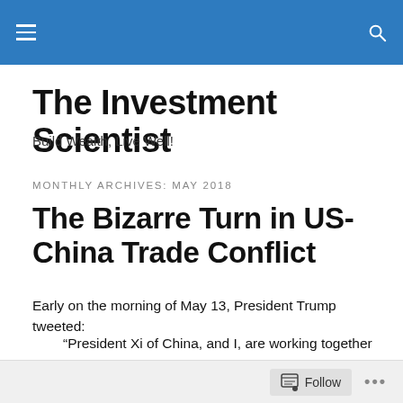The Investment Scientist — Navigation bar
The Investment Scientist
Build Wealth, Live Well!
MONTHLY ARCHIVES: MAY 2018
The Bizarre Turn in US-China Trade Conflict
Early on the morning of May 13, President Trump tweeted:
“President Xi of China, and I, are working together to give a massive Chinese phone company, ZTE, a way to...
Follow